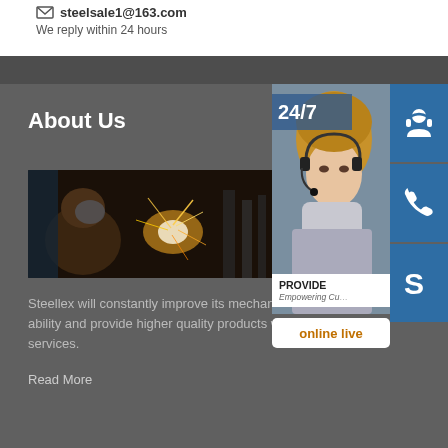steelsale1@163.com
We reply within 24 hours
[Figure (photo): Welding worker with sparks flying, industrial steel processing image]
About Us
[Figure (photo): Customer service representative with headset, 24/7 support banner, contact icons (headset, phone, Skype), online live button]
Steellex will constantly improve its mechanical processing ability and provide higher quality products with excellent services.
Read More